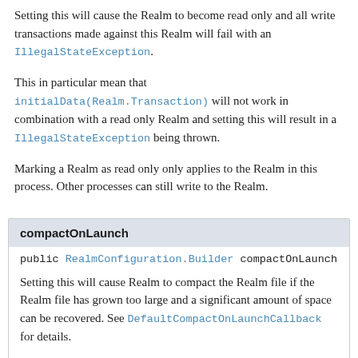Setting this will cause the Realm to become read only and all write transactions made against this Realm will fail with an IllegalStateException.
This in particular mean that initialData(Realm.Transaction) will not work in combination with a read only Realm and setting this will result in a IllegalStateException being thrown.
Marking a Realm as read only only applies to the Realm in this process. Other processes can still write to the Realm.
compactOnLaunch
public RealmConfiguration.Builder compactOnLaunch
Setting this will cause Realm to compact the Realm file if the Realm file has grown too large and a significant amount of space can be recovered. See DefaultCompactOnLaunchCallback for details.